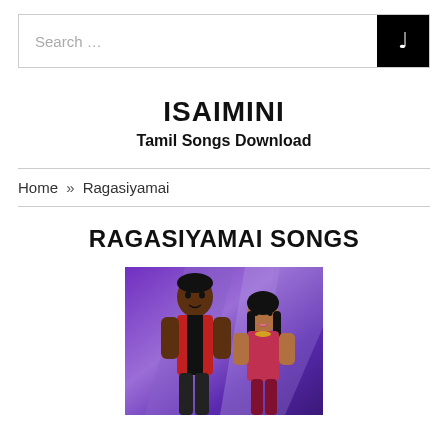Search …
ISAIMINI
Tamil Songs Download
Home » Ragasiyamai
RAGASIYAMAI SONGS
[Figure (photo): Movie poster showing a man and woman, purple/blue background, Tamil film Ragasiyamai]